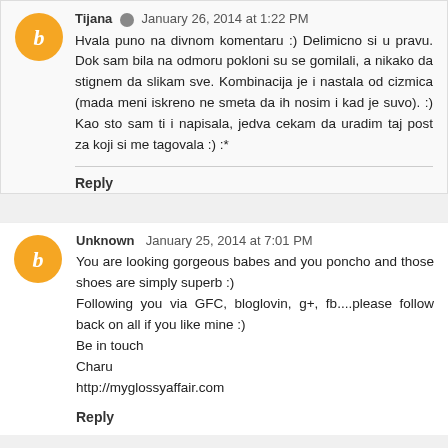Tijana  January 26, 2014 at 1:22 PM
Hvala puno na divnom komentaru :) Delimicno si u pravu. Dok sam bila na odmoru pokloni su se gomilali, a nikako da stignem da slikam sve. Kombinacija je i nastala od cizmica (mada meni iskreno ne smeta da ih nosim i kad je suvo). :) Kao sto sam ti i napisala, jedva cekam da uradim taj post za koji si me tagovala :) :*
Reply
Unknown  January 25, 2014 at 7:01 PM
You are looking gorgeous babes and you poncho and those shoes are simply superb :)
Following you via GFC, bloglovin, g+, fb....please follow back on all if you like mine :)
Be in touch
Charu
http://myglossyaffair.com
Reply